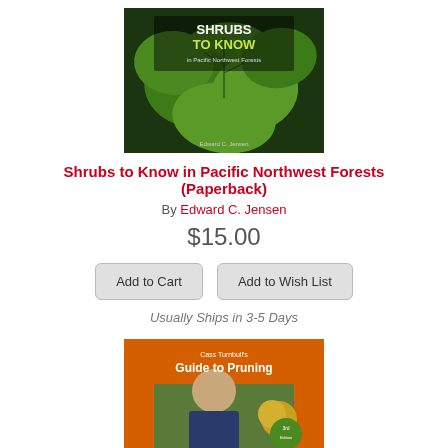[Figure (illustration): Book cover of 'Shrubs to Know in Pacific Northwest Forests' by Edward C. Jensen, showing green leaves on a dark green background with white and yellow-green title text]
Shrubs to Know in Pacific Northwest Forests (Paperback)
By Edward C. Jensen
$15.00
Add to Cart
Add to Wish List
Usually Ships in 3-5 Days
[Figure (illustration): Book cover of 'Cass Turnbull's Guide to Pruning' showing a woman in a garden with orange background and green circle badge]